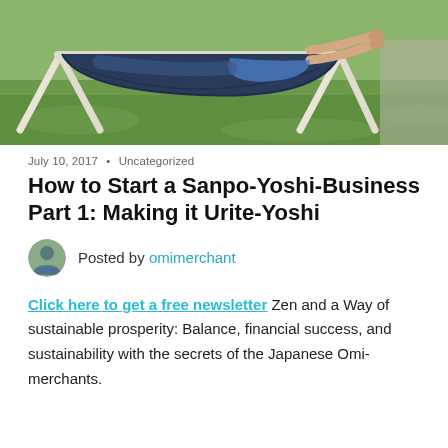[Figure (photo): Person relaxing in a dark blue hammock with white metal stand frame on green grass, feet visible, wearing blue shorts]
July 10, 2017  •  Uncategorized
How to Start a Sanpo-Yoshi-Business Part 1: Making it Urite-Yoshi
Posted by omimerchant
Click here to get a free newsletter Zen and a Way of sustainable prosperity: Balance, financial success, and sustainability with the secrets of the Japanese Omi-merchants.